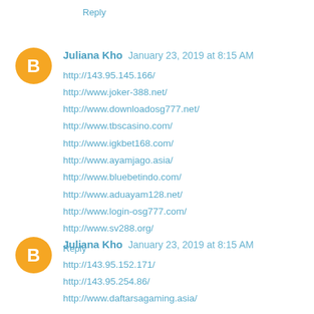Reply
Juliana Kho January 23, 2019 at 8:15 AM
http://143.95.145.166/
http://www.joker-388.net/
http://www.downloadosg777.net/
http://www.tbscasino.com/
http://www.igkbet168.com/
http://www.ayamjago.asia/
http://www.bluebetindo.com/
http://www.aduayam128.net/
http://www.login-osg777.com/
http://www.sv288.org/
Reply
Juliana Kho January 23, 2019 at 8:15 AM
http://143.95.152.171/
http://143.95.254.86/
http://www.daftarsagaming.asia/